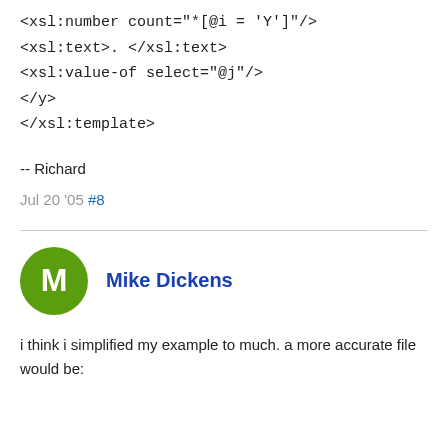<xsl:number count="*[@i = 'Y']"/>
<xsl:text>. </xsl:text>
<xsl:value-of select="@j"/>
</y>
</xsl:template>
-- Richard
Jul 20 '05 #8
Mike Dickens
i think i simplified my example to much. a more accurate file would be: